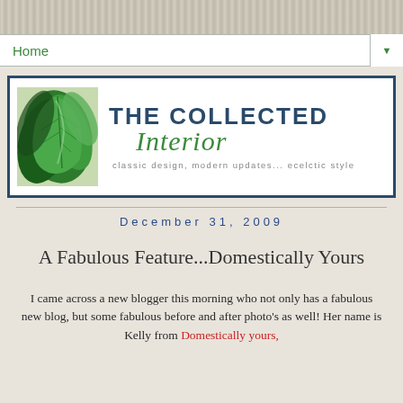Home
[Figure (illustration): The Collected Interior blog banner with tropical leaf image and logo text: THE COLLECTED Interior, classic design, modern updates... ecelctic style]
December 31, 2009
A Fabulous Feature...Domestically Yours
I came across a new blogger this morning who not only has a fabulous new blog, but some fabulous before and after photo's as well! Her name is Kelly from Domestically yours,